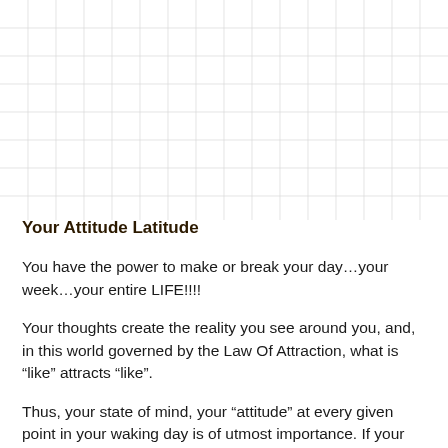[Figure (other): Grid/graph paper background pattern covering the upper portion of the page]
Your Attitude Latitude
You have the power to make or break your day…your week…your entire LIFE!!!!
Your thoughts create the reality you see around you, and, in this world governed by the Law Of Attraction, what is “like” attracts “like”.
Thus, your state of mind, your “attitude” at every given point in your waking day is of utmost importance. If your